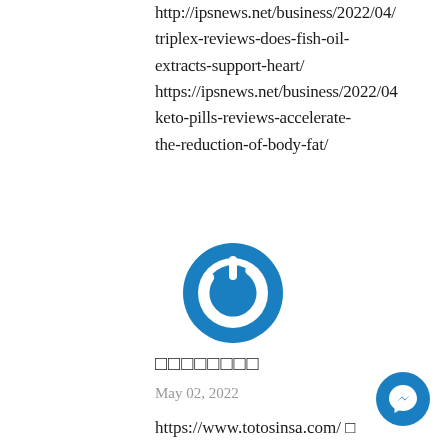http://ipsnews.net/business/2022/04/
triplex-reviews-does-fish-oil-
extracts-support-heart/
https://ipsnews.net/business/2022/04
keto-pills-reviews-accelerate-
the-reduction-of-body-fat/
[Figure (logo): Blue circular power button logo icon]
□□□□□□□□
May 02, 2022
https://www.totosinsa.com/ □
[Figure (logo): Blue Facebook Messenger icon button in bottom right corner]